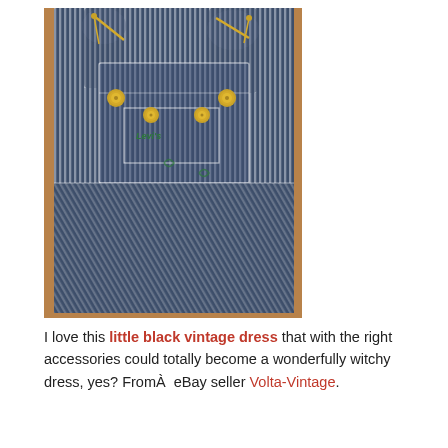[Figure (photo): Close-up photo of vintage children's blue and white striped overalls/dungarees with gold buttons and a green embroidered label, photographed on a brown surface.]
I love this little black vintage dress that with the right accessories could totally become a wonderfully witchy dress, yes? FromÂ  eBay seller Volta-Vintage.